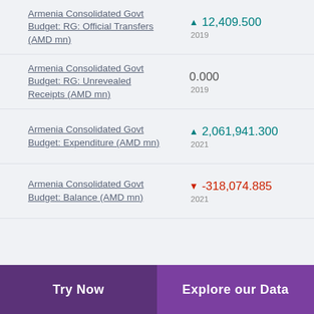Armenia Consolidated Govt Budget: RG: Official Transfers (AMD mn) ▲ 12,409.500 2019
Armenia Consolidated Govt Budget: RG: Unrevealed Receipts (AMD mn) 0.000 2019
Armenia Consolidated Govt Budget: Expenditure (AMD mn) ▲ 2,061,941.300 2021
Armenia Consolidated Govt Budget: Balance (AMD mn) ▼ -318,074.885 2021
Try Now  Explore our Data